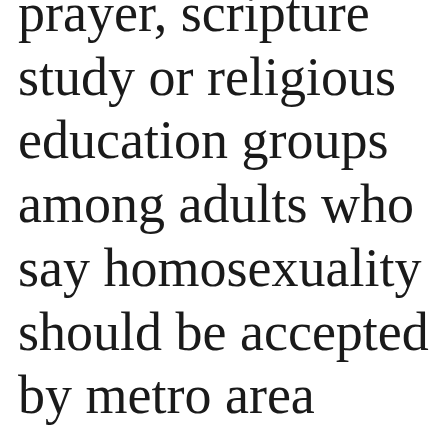prayer, scripture study or religious education groups among adults who say homosexuality should be accepted by metro area